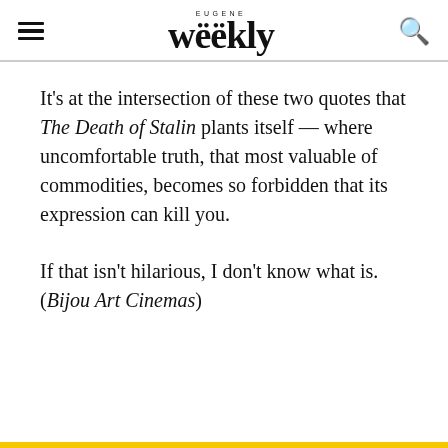EUGENE Weekly
It's at the intersection of these two quotes that The Death of Stalin plants itself — where uncomfortable truth, that most valuable of commodities, becomes so forbidden that its expression can kill you.
If that isn't hilarious, I don't know what is. (Bijou Art Cinemas)